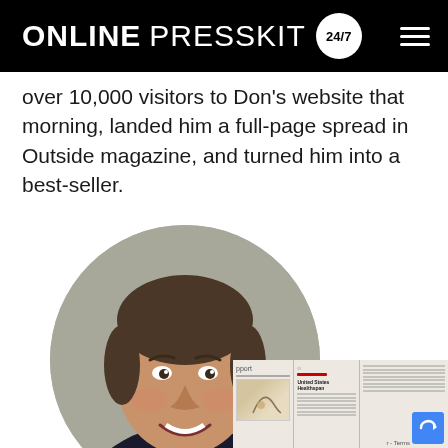ONLINE PRESSKIT 24/7
over 10,000 visitors to Don’s website that morning, landed him a full-page spread in Outside magazine, and turned him into a best-seller.
[Figure (photo): A circular cropped professional headshot of a middle-aged man with dark hair, wearing a dark suit and red tie, smiling. Behind the photo is a partial view of a magazine spread.]